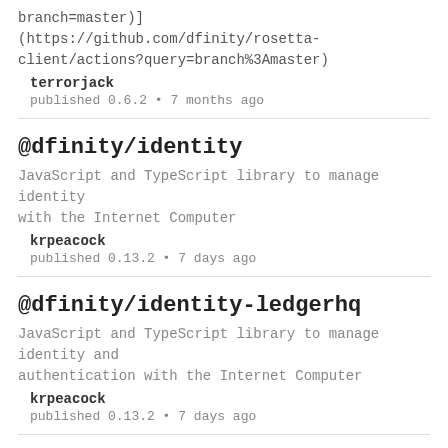branch=master)](https://github.com/dfinity/rosetta-client/actions?query=branch%3Amaster)
terrorjack
published 0.6.2 • 7 months ago
@dfinity/identity
JavaScript and TypeScript library to manage identity with the Internet Computer
krpeacock
published 0.13.2 • 7 days ago
@dfinity/identity-ledgerhq
JavaScript and TypeScript library to manage identity and authentication with the Internet Computer
krpeacock
published 0.13.2 • 7 days ago
@dfinity/auth-client